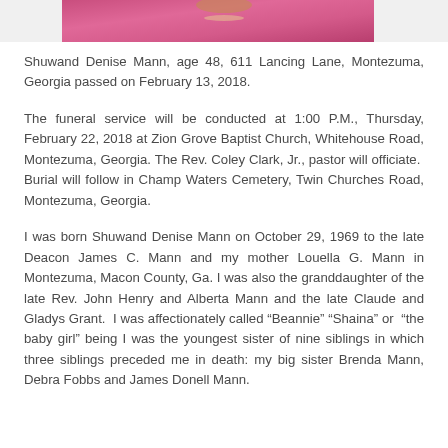[Figure (photo): Partial photo of a person wearing bright pink/magenta clothing, cropped at the top of the page]
Shuwand Denise Mann, age 48, 611 Lancing Lane, Montezuma, Georgia passed on February 13, 2018.
The funeral service will be conducted at 1:00 P.M., Thursday, February 22, 2018 at Zion Grove Baptist Church, Whitehouse Road, Montezuma, Georgia. The Rev. Coley Clark, Jr., pastor will officiate. Burial will follow in Champ Waters Cemetery, Twin Churches Road, Montezuma, Georgia.
I was born Shuwand Denise Mann on October 29, 1969 to the late Deacon James C. Mann and my mother Louella G. Mann in Montezuma, Macon County, Ga. I was also the granddaughter of the late Rev. John Henry and Alberta Mann and the late Claude and Gladys Grant. I was affectionately called “Beannie” “Shaina” or “the baby girl” being I was the youngest sister of nine siblings in which three siblings preceded me in death: my big sister Brenda Mann, Debra Fobbs and James Donell Mann.